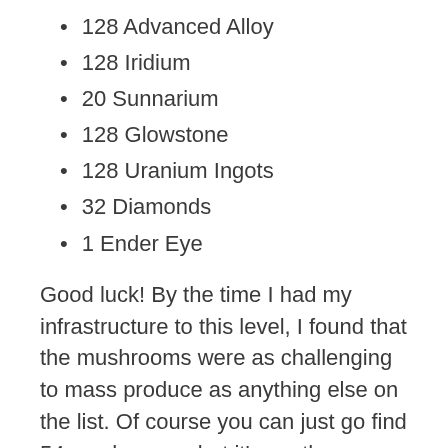128 Advanced Alloy
128 Iridium
20 Sunnarium
128 Glowstone
128 Uranium Ingots
32 Diamonds
1 Ender Eye
Good luck! By the time I had my infrastructure to this level, I found that the mushrooms were as challenging to mass produce as anything else on the list. Of course you can just go find 54 mushrooms, but it's worth your while to automate everything you can.
Tips
This whole very long section is basically tips. Just